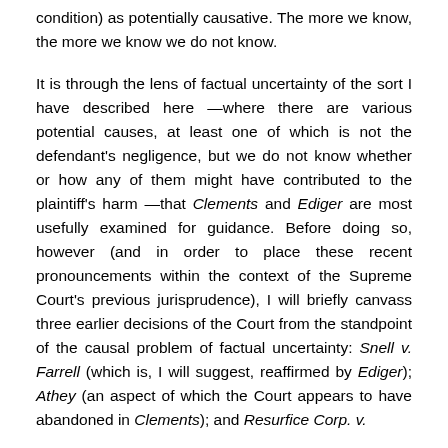condition) as potentially causative. The more we know, the more we know we do not know.
It is through the lens of factual uncertainty of the sort I have described here —where there are various potential causes, at least one of which is not the defendant's negligence, but we do not know whether or how any of them might have contributed to the plaintiff's harm —that Clements and Ediger are most usefully examined for guidance. Before doing so, however (and in order to place these recent pronouncements within the context of the Supreme Court's previous jurisprudence), I will briefly canvass three earlier decisions of the Court from the standpoint of the causal problem of factual uncertainty: Snell v. Farrell (which is, I will suggest, reaffirmed by Ediger); Athey (an aspect of which the Court appears to have abandoned in Clements); and Resurfice Corp. v.